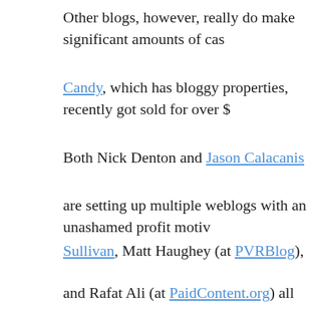Other blogs, however, really do make significant amounts of ca…
Candy, which has bloggy properties, recently got sold for over $…
Both Nick Denton and Jason Calacanis
are setting up multiple weblogs with an unashamed profit motiv…
Sullivan, Matt Haughey (at PVRBlog),
and Rafat Ali (at PaidContent.org) all
now make more than the average American wage earner just fro…
Drudge, of course, makes a lot of money.
When weblogs were just beginning, many of the most successfu…
up by professional journalists who simply ported over to the w…